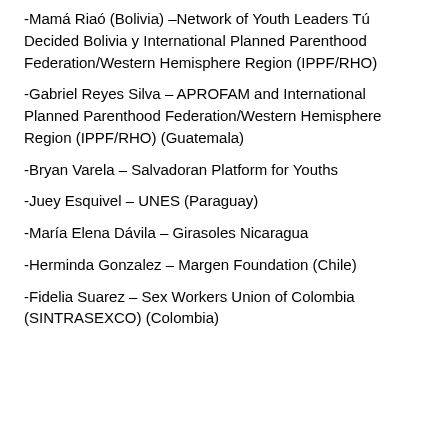-Mamá Riaó (Bolivia) –Network of Youth Leaders Tú Decided Bolivia y International Planned Parenthood Federation/Western Hemisphere Region (IPPF/RHO)
-Gabriel Reyes Silva – APROFAM and International Planned Parenthood Federation/Western Hemisphere Region (IPPF/RHO) (Guatemala)
-Bryan Varela – Salvadoran Platform for Youths
-Juey Esquivel – UNES (Paraguay)
-María Elena Dávila – Girasoles Nicaragua
-Herminda Gonzalez – Margen Foundation (Chile)
-Fidelia Suarez – Sex Workers Union of Colombia (SINTRASEXCO) (Colombia)